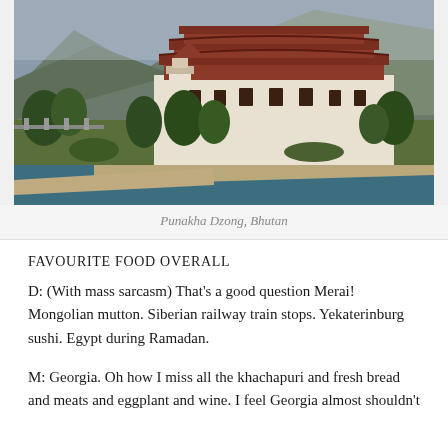[Figure (photo): Punakha Dzong fortress monastery in Bhutan, situated at the confluence of rivers with forested mountains in the background. The large multi-story traditional Bhutanese architectural building with white and red-brown wooden tiers is surrounded by trees, with a river and sandy bank in the foreground.]
Punakha Dzong, Bhutan
FAVOURITE FOOD OVERALL
D: (With mass sarcasm) That’s a good question Merai! Mongolian mutton. Siberian railway train stops. Yekaterinburg sushi. Egypt during Ramadan.
M: Georgia. Oh how I miss all the khachapuri and fresh bread and meats and eggplant and wine. I feel Georgia almost shouldn’t